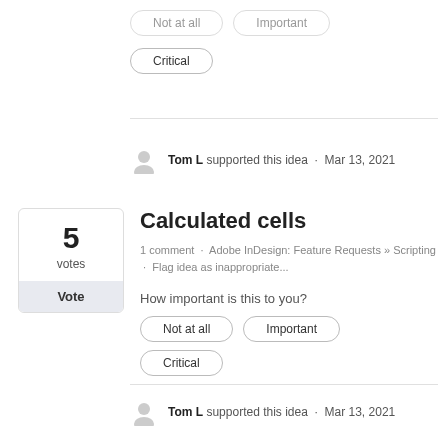Critical
Tom L supported this idea · Mar 13, 2021
Calculated cells
1 comment · Adobe InDesign: Feature Requests » Scripting · Flag idea as inappropriate...
How important is this to you?
Not at all
Important
Critical
Tom L supported this idea · Mar 13, 2021